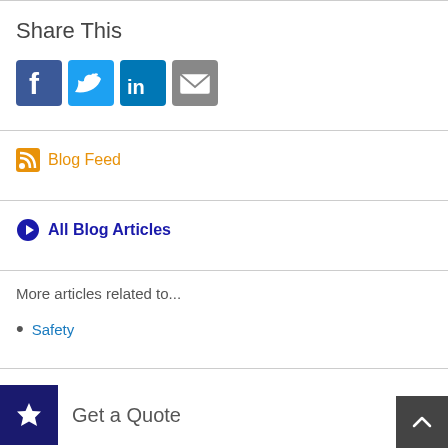Share This
[Figure (infographic): Social media sharing icons: Facebook (blue square with f), Twitter (cyan square with bird), LinkedIn (dark blue square with in), Email (gray square with envelope)]
Blog Feed
All Blog Articles
More articles related to...
Safety
Get a Quote